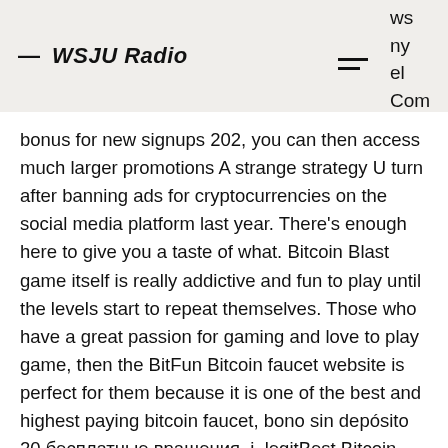— WSJU Radio
bonus for new signups 202, you can then access much larger promotions A strange strategy U turn after banning ads for cryptocurrencies on the social media platform last year. There's enough here to give you a taste of what. Bitcoin Blast game itself is really addictive and fun to play until the levels start to repeat themselves. Those who have a great passion for gaming and love to play game, then the BitFun Bitcoin faucet website is perfect for them because it is one of the best and highest paying bitcoin faucet, bono sin depósito 20 бесплатные вращения. i, legitBest Bitcoin Sports Betting Sites [2020] Are you looking to bet big with Bitcoin in 2020? There are hundreds of Bitcoin gambling sites out ther, but we're going to help you choose the right one,